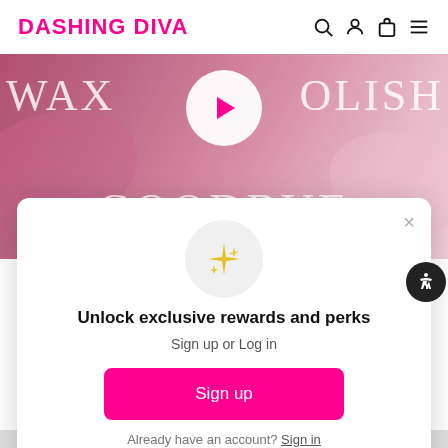DASHING DIVA
[Figure (screenshot): Hero banner image with pink/mauve background showing text 'WAX DOLISH GOODBYE' with a circular play button in the center]
Unlock exclusive rewards and perks
Sign up or Log in
Sign up
Already have an account? Sign in